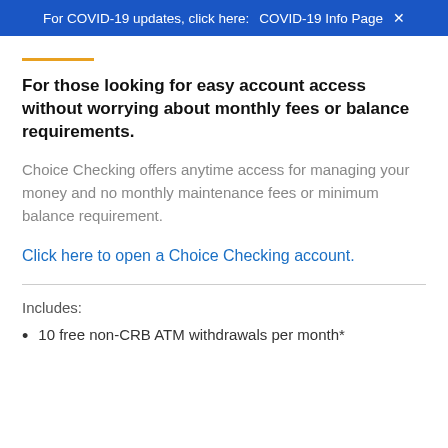For COVID-19 updates, click here: COVID-19 Info Page
For those looking for easy account access without worrying about monthly fees or balance requirements.
Choice Checking offers anytime access for managing your money and no monthly maintenance fees or minimum balance requirement.
Click here to open a Choice Checking account.
Includes:
10 free non-CRB ATM withdrawals per month*